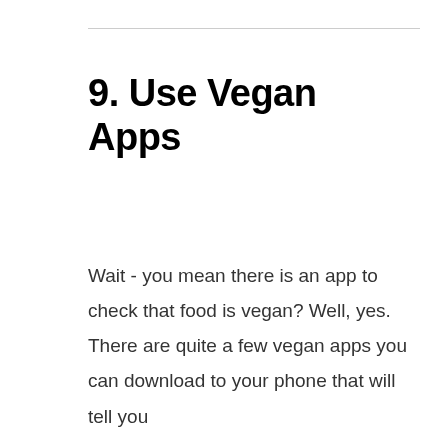9. Use Vegan Apps
Wait - you mean there is an app to check that food is vegan? Well, yes. There are quite a few vegan apps you can download to your phone that will tell you